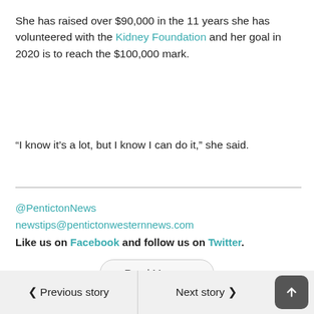She has raised over $90,000 in the 11 years she has volunteered with the Kidney Foundation and her goal in 2020 is to reach the $100,000 mark.
“I know it’s a lot, but I know I can do it,” she said.
@PentictonNews
newstips@pentictonwesternnews.com
Like us on Facebook and follow us on Twitter.
Read More
Previous story   Next story